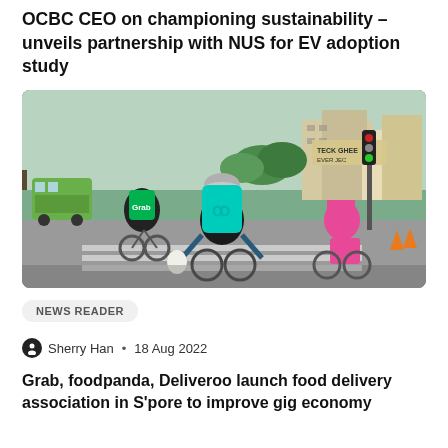OCBC CEO on championing sustainability – unveils partnership with NUS for EV adoption study
[Figure (photo): Three food delivery cyclists viewed from behind at a road crossing. The left cyclist carries a green Grab delivery backpack, the center cyclist wears a helmet and carries a teal/turquoise Deliveroo backpack, and the right cyclist in a pink shirt carries a pink delivery box. Urban Singapore street scene with green bus, traffic lights, and buildings in background.]
NEWS READER
Sherry Han • 18 Aug 2022
Grab, foodpanda, Deliveroo launch food delivery association in S'pore to improve gig economy